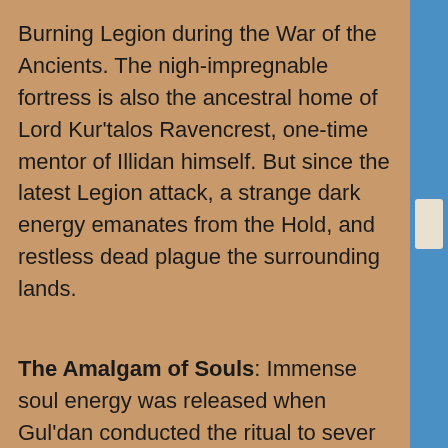Burning Legion during the War of the Ancients. The nigh-impregnable fortress is also the ancestral home of Lord Kur’talos Ravencrest, one-time mentor of Illidan himself. But since the latest Legion attack, a strange dark energy emanates from the Hold, and restless dead plague the surrounding lands.
The Amalgam of Souls: Immense soul energy was released when Gul’dan conducted the ritual to sever Illidan’s soul from his body at Black Rook Hold. This energy brought the souls of the Ravencrest clan back to their ancestral home – and residual soul energy has merged them into a massive monstrosity.